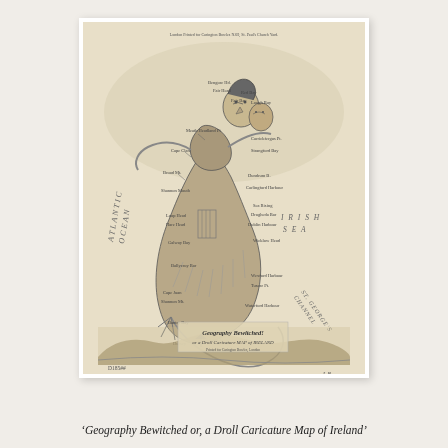[Figure (illustration): Antique caricature map of Ireland titled 'Geography Bewitched or, a Droll Caricature MAP of IRELAND'. The map depicts Ireland as a witch-like figure riding a broomstick, with place names annotated across the figure's body. Surrounding text includes 'ATLANTIC OCEAN' on the left, 'IRISH SEA' on the right, and 'ST. GEORGE'S CHANNEL' at lower right. A landscape scene with hills and water appears at the bottom of the print. Handwritten annotations appear at the bottom of the page below the print: 'D185## (c.1793) L-A, Vol III' and a signature or mark at right.]
'Geography Bewitched or, a Droll Caricature Map of Ireland'